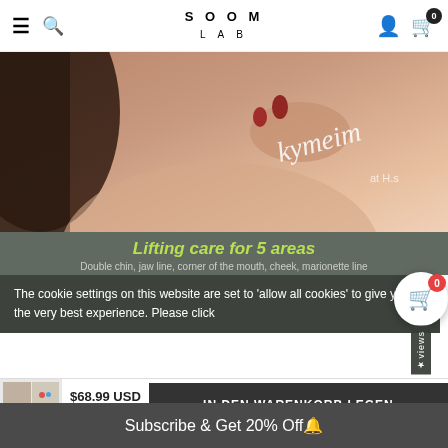SOOM LAB — navigation header with hamburger menu, search, logo, user icon, cart (0)
[Figure (photo): Close-up of a woman's neck and hand with red nails, cursive signature overlay reading 'kymeim']
Lifting care for 5 areas
Double chin, jaw line, corner of the mouth, cheek, marionette line
The cookie settings on this website are set to 'allow all cookies' to give you the very best experience. Please click
$68.99 USD
IN DEN WARENKORB LEGEN
1 Box Per Each Patch (3 BOXES IN TOTAL) / $68.99
Subscribe & Get 20% Off🔔